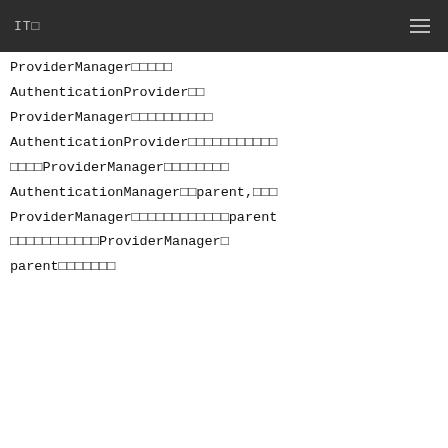IT□
ProviderManager□□□□□ AuthenticationProvider□□ ProviderManager□□□□□□□□□□ AuthenticationProvider□□□□□□□□□□□ □□□□ProviderManager□□□□□□□□ AuthenticationManager□□parent,□□□ ProviderManager□□□□□□□□□□□□parent □□□□□□□□□□□ProviderManager□ parent□□□□□□□